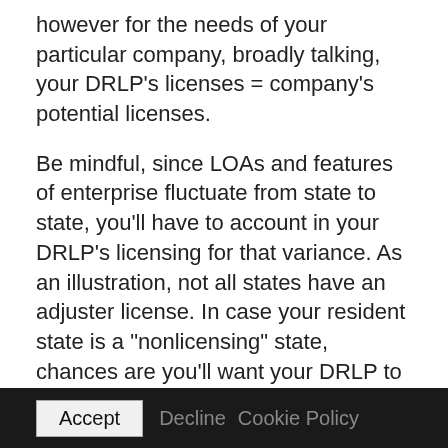however for the needs of your particular company, broadly talking, your DRLP's licenses = company's potential licenses.
Be mindful, since LOAs and features of enterprise fluctuate from state to state, you'll have to account in your DRLP's licensing for that variance. As an illustration, not all states have an adjuster license. In case your resident state is a “nonlicensing” state, chances are you'll want your DRLP to use in a state that does license adjusters and make that state their designated residence state for that license.
Accept   Decline   Cookie Policy